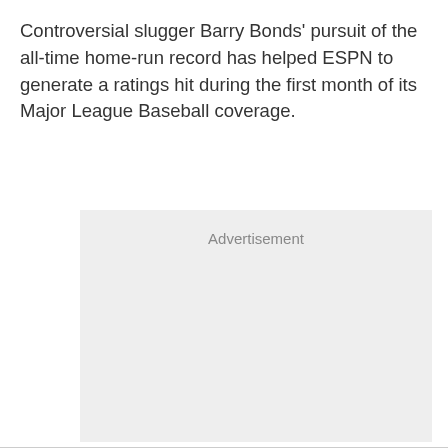Controversial slugger Barry Bonds' pursuit of the all-time home-run record has helped ESPN to generate a ratings hit during the first month of its Major League Baseball coverage.
[Figure (other): Advertisement placeholder box with light gray background and 'Advertisement' label at the top center.]